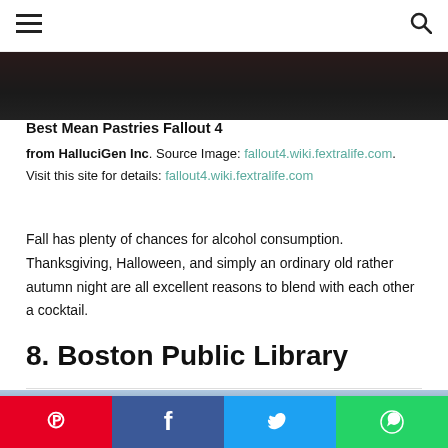[hamburger menu] [search icon]
[Figure (photo): Dark background photograph cropped at top of page]
Best Mean Pastries Fallout 4
from HalluciGen Inc. Source Image: fallout4.wiki.fextralife.com. Visit this site for details: fallout4.wiki.fextralife.com
Fall has plenty of chances for alcohol consumption. Thanksgiving, Halloween, and simply an ordinary old rather autumn night are all excellent reasons to blend with each other a cocktail.
8. Boston Public Library
[Figure (photo): Exterior photograph of Boston Public Library building]
Social share bar: Pinterest, Facebook, Twitter, WhatsApp